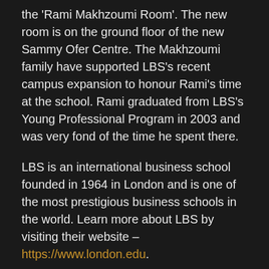the 'Rami Makhzoumi Room'. The new room is on the ground floor of the new Sammy Ofer Centre. The Makhzoumi family have supported LBS's recent campus expansion to honour Rami's time at the school. Rami graduated from LBS's Young Professional Program in 2003 and was very fond of the time he spent there.
LBS is an international business school founded in 1964 in London and is one of the most prestigious business schools in the world. Learn more about LBS by visiting their website – https://www.london.edu.
5 years ago today, Rami passed away in tragic circumstances at the age of 33. The naming of this room at LBS is one of the ways the Makhzoumi family is commemorating Rami's life and making his story available to as wide an audience as possible. Other initiatives include the Rami Makhzoumi Corporate Governance Chair at AUB, the Rami Makhzoumi Scholarship Fund and Leadership Award at International College Beirut, the naming of a row of auditorium seats at International College Beirut and the commissioning of Rami's business biography The CEOs